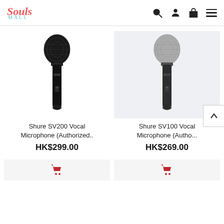Souls Mall - navigation header with search, account, cart, and menu icons
[Figure (photo): Shure SV200 black vocal microphone on white background]
Shure SV200 Vocal Microphone (Authorized..
HK$299.00
[Figure (photo): Shure SV100 grey vocal microphone on light blue-grey background]
Shure SV100 Vocal Microphone (Autho...
HK$269.00